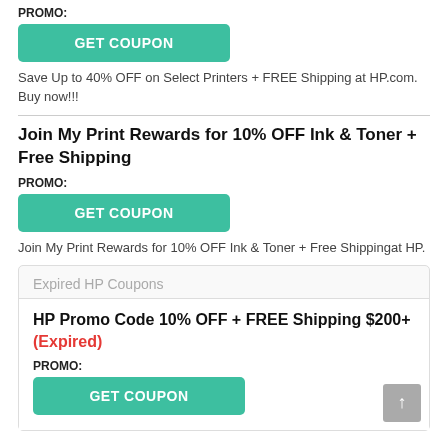PROMO:
[Figure (other): GET COUPON button (teal/green rounded rectangle)]
Save Up to 40% OFF on Select Printers + FREE Shipping at HP.com. Buy now!!!
Join My Print Rewards for 10% OFF Ink & Toner + Free Shipping
PROMO:
[Figure (other): GET COUPON button (teal/green rounded rectangle)]
Join My Print Rewards for 10% OFF Ink & Toner + Free Shippingat HP.
Expired HP Coupons
HP Promo Code 10% OFF + FREE Shipping $200+ (Expired)
PROMO: